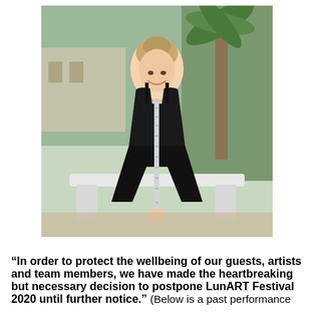[Figure (photo): A woman with blonde hair pulled up, wearing a black strapless jumpsuit and a statement necklace, sitting on a white bench outdoors holding a silver flute vertically. Background shows green trees and a building.]
“In order to protect the wellbeing of our guests, artists and team members, we have made the heartbreaking but necessary decision to postpone LunART Festival 2020 until further notice.” (Below is a past performance